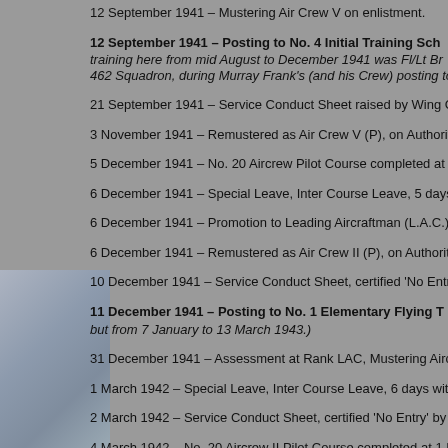12 September 1941 – Mustering Air Crew V on enlistment.
12 September 1941 – Posting to No. 4 Initial Training Sch... training here from mid August to December 1941 was Fl/Lt Br... 462 Squadron, during Murray Frank's (and his Crew) posting to...
21 September 1941 – Service Conduct Sheet raised by Wing C...
3 November 1941 – Remustered as Air Crew V (P), on Authorit...
5 December 1941 – No. 20 Aircrew Pilot Course completed at ...
6 December 1941 – Special Leave, Inter Course Leave, 5 days...
6 December 1941 – Promotion to Leading Aircraftman (L.A.C.)...
6 December 1941 – Remustered as Air Crew II (P), on Authorit...
10 December 1941 – Service Conduct Sheet, certified 'No Entr...
11 December 1941 – Posting to No. 1 Elementary Flying T... but from 7 January to 13 March 1943.)
31 December 1941 – Assessment at Rank LAC, Mustering Airc...
1 March 1942 – Special Leave, Inter Course Leave, 6 days wit...
2 March 1942 – Service Conduct Sheet, certified 'No Entry' by ...
4 March 1942 – No. 20 Aircrew II Pilot Course completed at 1 E...
5 March 1942 – Posting to No. 2 Embarkation Depot (2 B...